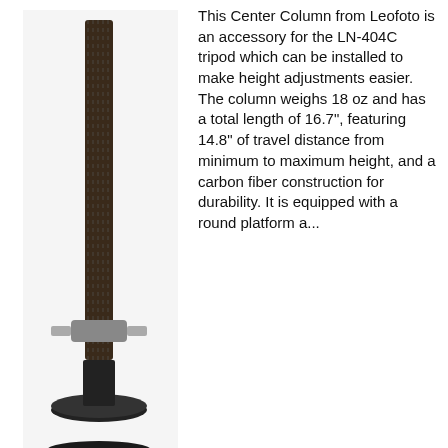[Figure (photo): Photo of a Leofoto center column tripod accessory - a long carbon fiber column with a round platform base]
This Center Column from Leofoto is an accessory for the LN-404C tripod which can be installed to make height adjustments easier. The column weighs 18 oz and has a total length of 16.7", featuring 14.8" of travel distance from minimum to maximum height, and a carbon fiber construction for durability. It is equipped with a round platform a...
Leofoto LN-364C Carbon Fiber Tripod
★★★★☆
The Leofoto LN-364C Carbon Fiber Tripod has 10 layers of Torayca carbon fiber, used to construct its legs, along with 6061 and 7075 CNC machined aluminum hardware. The tripod has a load capacity of 77.2 lb, which is suitable for small mirrorless, DSLR, and large format cameras. The leg's 4 sections unlock via twist locks, and the support extends t...
Leofoto LH-25 Mini Ball Head
★★★★☆